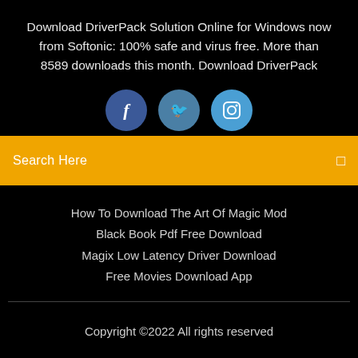Download DriverPack Solution Online for Windows now from Softonic: 100% safe and virus free. More than 8589 downloads this month. Download DriverPack
[Figure (infographic): Three social media icon circles: Facebook (dark blue), Twitter (medium blue), Instagram (light blue), partially overlapping with the yellow search bar]
Search Here
How To Download The Art Of Magic Mod
Black Book Pdf Free Download
Magix Low Latency Driver Download
Free Movies Download App
Copyright ©2022 All rights reserved